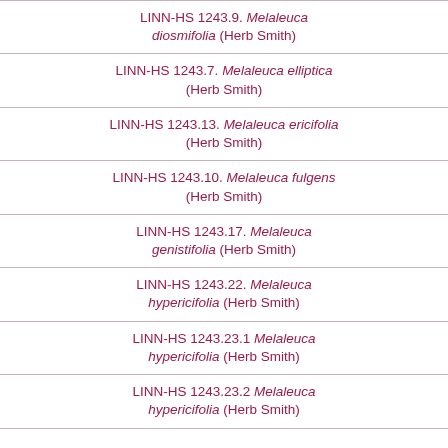LINN-HS 1243.9. Melaleuca diosmifolia (Herb Smith)
LINN-HS 1243.7. Melaleuca elliptica (Herb Smith)
LINN-HS 1243.13. Melaleuca ericifolia (Herb Smith)
LINN-HS 1243.10. Melaleuca fulgens (Herb Smith)
LINN-HS 1243.17. Melaleuca genistifolia (Herb Smith)
LINN-HS 1243.22. Melaleuca hypericifolia (Herb Smith)
LINN-HS 1243.23.1 Melaleuca hypericifolia (Herb Smith)
LINN-HS 1243.23.2 Melaleuca hypericifolia (Herb Smith)